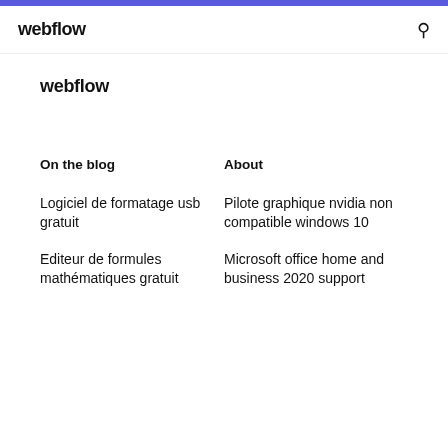webflow
webflow
On the blog
About
Logiciel de formatage usb gratuit
Editeur de formules mathématiques gratuit
Pilote graphique nvidia non compatible windows 10
Microsoft office home and business 2020 support